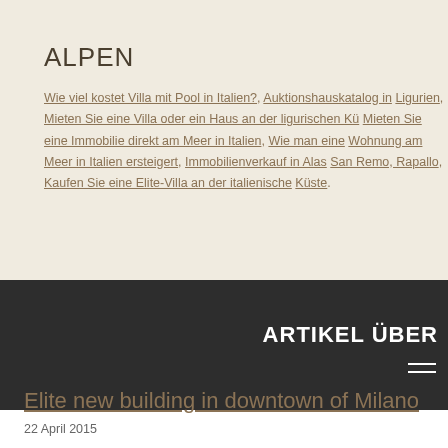ALPEN
Wie viel kostet Villa mit Pool in Italien?, Auktionshauskatalog in Ligurien, Mieten Sie eine Villa oder ein Haus an der ligurischen Küste, Mieten Sie eine Immobilie direkt am Meer in Italien, Wie man eine Wohnung am Meer in Italien ersteigert, Immobilienverkauf in Alas San Remo, Rapallo, Kaufen Sie eine Elite-Villa an der italienische Küste.
ARTIKEL ÜBER
Elite new building in downtown of Milano
22 April 2015